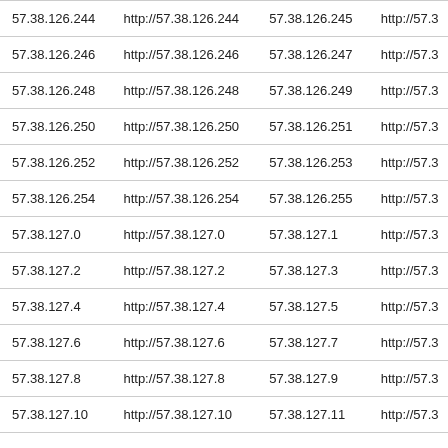| 57.38.126.244 | http://57.38.126.244 | 57.38.126.245 | http://57.3 |
| 57.38.126.246 | http://57.38.126.246 | 57.38.126.247 | http://57.3 |
| 57.38.126.248 | http://57.38.126.248 | 57.38.126.249 | http://57.3 |
| 57.38.126.250 | http://57.38.126.250 | 57.38.126.251 | http://57.3 |
| 57.38.126.252 | http://57.38.126.252 | 57.38.126.253 | http://57.3 |
| 57.38.126.254 | http://57.38.126.254 | 57.38.126.255 | http://57.3 |
| 57.38.127.0 | http://57.38.127.0 | 57.38.127.1 | http://57.3 |
| 57.38.127.2 | http://57.38.127.2 | 57.38.127.3 | http://57.3 |
| 57.38.127.4 | http://57.38.127.4 | 57.38.127.5 | http://57.3 |
| 57.38.127.6 | http://57.38.127.6 | 57.38.127.7 | http://57.3 |
| 57.38.127.8 | http://57.38.127.8 | 57.38.127.9 | http://57.3 |
| 57.38.127.10 | http://57.38.127.10 | 57.38.127.11 | http://57.3 |